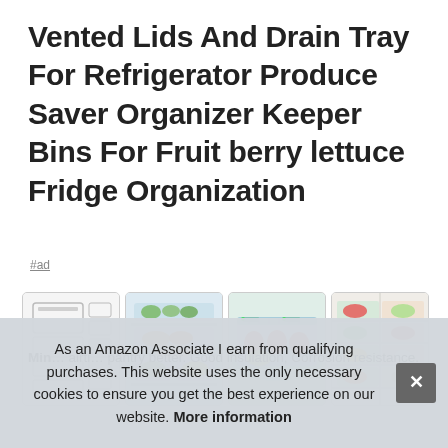Vented Lids And Drain Tray For Refrigerator Produce Saver Organizer Keeper Bins For Fruit berry lettuce Fridge Organization
#ad
[Figure (photo): Four product images showing refrigerator produce organizer bins with vented lids]
Mini ... airti... pantry better. Good insulation, Corrosion resistance.
As an Amazon Associate I earn from qualifying purchases. This website uses the only necessary cookies to ensure you get the best experience on our website. More information